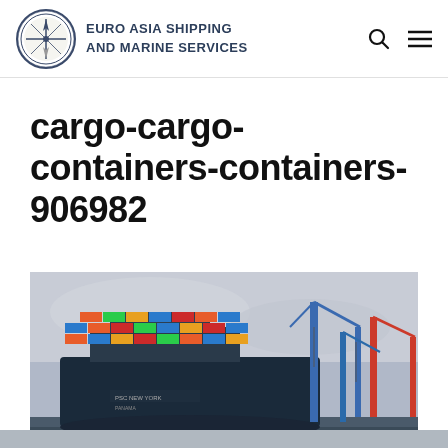EURO ASIA SHIPPING AND MARINE SERVICES
cargo-cargo-containers-containers-906982
[Figure (photo): Large dark-hulled container ship (PSC NEW YORK / PANAMA) loaded with colourful shipping containers docked at a port with tall blue and red cranes visible in the background under an overcast sky.]